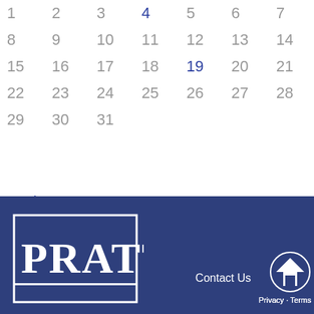| Sun | Mon | Tue | Wed | Thu | Fri | Sat |
| --- | --- | --- | --- | --- | --- | --- |
| 1 | 2 | 3 | 4 | 5 | 6 | 7 |
| 8 | 9 | 10 | 11 | 12 | 13 | 14 |
| 15 | 16 | 17 | 18 | 19 | 20 | 21 |
| 22 | 23 | 24 | 25 | 26 | 27 | 28 |
| 29 | 30 | 31 |  |  |  |  |
« Jul
[Figure (logo): Pratt logo on dark blue footer background with Contact Us link and home button]
Privacy · Terms